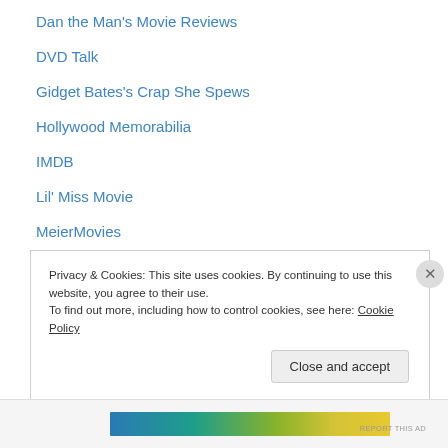Dan the Man's Movie Reviews
DVD Talk
Gidget Bates's Crap She Spews
Hollywood Memorabilia
IMDB
Lil' Miss Movie
MeierMovies
Picknmixflix
Thank Blog It's Friday!
The Warning Sign
Triviana
WordPress.com
Privacy & Cookies: This site uses cookies. By continuing to use this website, you agree to their use.
To find out more, including how to control cookies, see here: Cookie Policy
Close and accept